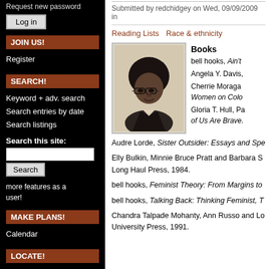Request new password
Log in
JOIN US!
Register
SEARCH!
Keyword + adv. search
Search entries by date
Search listings
Search this site:
Search
more features as a user!
MAKE PLANS!
Calendar
LOCATE!
Submitted by redchidgey on Wed, 09/09/2009 in
Reading Lists    Race & ethnicity
[Figure (photo): Black and white portrait photograph of a woman with an afro hairstyle and glasses, looking slightly to the side, wearing a dark jacket.]
Books
bell hooks, Ain't
Angela Y. Davis,
Cherrie Moraga Women on Colo
Gloria T. Hull, Pa of Us Are Brave.
Audre Lorde, Sister Outsider: Essays and Spe
Elly Bulkin, Minnie Bruce Pratt and Barbara S Long Haul Press, 1984.
bell hooks, Feminist Theory: From Margins to
bell hooks, Talking Back: Thinking Feminist, T
Chandra Talpade Mohanty, Ann Russo and Lo University Press, 1991.